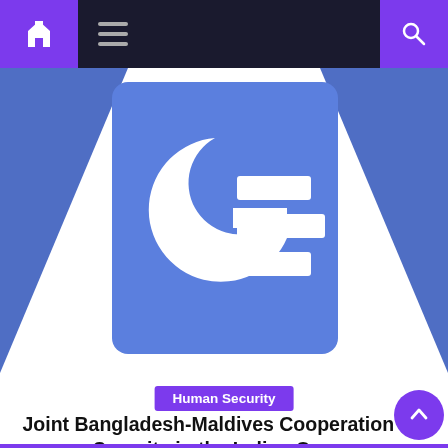Navigation bar with home, menu, and search icons
[Figure (logo): Google News logo icon — large white G character with three horizontal white bars on a blue rounded rectangle, flanked by darker blue triangles on left and right]
Human Security
Joint Bangladesh-Maldives Cooperation for Security in the Indian Ocean